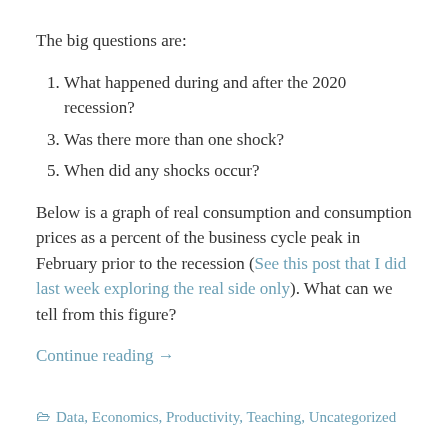The big questions are:
What happened during and after the 2020 recession?
Was there more than one shock?
When did any shocks occur?
Below is a graph of real consumption and consumption prices as a percent of the business cycle peak in February prior to the recession (See this post that I did last week exploring the real side only). What can we tell from this figure?
Continue reading →
Data, Economics, Productivity, Teaching, Uncategorized